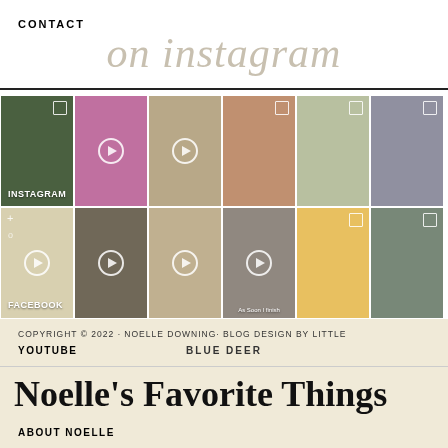CONTACT
on instagram
[Figure (photo): Grid of 12 Instagram post thumbnails in two rows of six, showing lifestyle and fashion content. Row 1 includes posts labeled INSTAGRAM. Row 2 includes a post labeled FACEBOOK. Several posts show video play buttons.]
COPYRIGHT © 2022 · NOELLE DOWNING· BLOG DESIGN BY LITTLE
YOUTUBE
BLUE DEER
Noelle's Favorite Things
ABOUT NOELLE